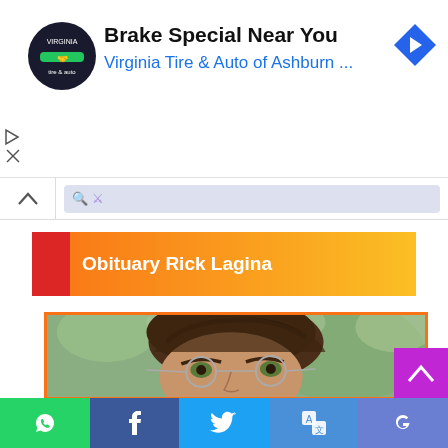[Figure (screenshot): Advertisement banner for Virginia Tire & Auto of Ashburn with logo, title 'Brake Special Near You', subtitle in blue, and a blue diamond navigation arrow icon on the right. Small play and close icons on the left.]
[Figure (screenshot): Collapse/chevron-up button on the left and a light purple/grey search bar to the right.]
Obituary Rick Lagina
[Figure (photo): Close-up portrait photo of Rick Lagina, a middle-aged man with brown hair and round wire-frame glasses, with a blurred green outdoor background. Photo has an orange border.]
[Figure (screenshot): Purple scroll-to-top button with upward chevron arrow, positioned at bottom right.]
[Figure (screenshot): Social sharing bar at the bottom with five icons: WhatsApp (green), Facebook (dark blue), Twitter (light blue), Google Translate (medium blue), and Google (medium blue/purple).]